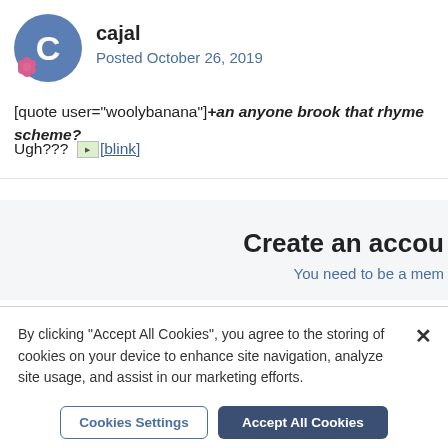[Figure (illustration): User avatar: circular blue background with white letter C, pink flower badge at bottom-left]
cajal
Posted October 26, 2019
[quote user="woolybanana"]+an anyone brook that rhyme scheme?
Ugh??? [Blink] [blink]
Create an accou
You need to be a mem
By clicking “Accept All Cookies”, you agree to the storing of cookies on your device to enhance site navigation, analyze site usage, and assist in our marketing efforts.
Cookies Settings
Accept All Cookies